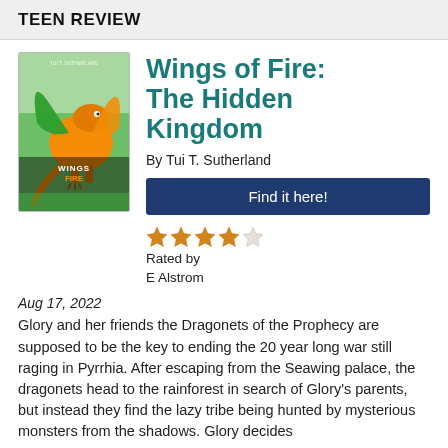TEEN REVIEW
[Figure (illustration): Book cover of Wings of Fire: The Hidden Kingdom showing a dragon with orange/green wings against a green background]
Wings of Fire: The Hidden Kingdom
By Tui T. Sutherland
Find it here!
Rated by E Alstrom
Aug 17, 2022
Glory and her friends the Dragonets of the Prophecy are supposed to be the key to ending the 20 year long war still raging in Pyrrhia. After escaping from the Seawing palace, the dragonets head to the rainforest in search of Glory's parents, but instead they find the lazy tribe being hunted by mysterious monsters from the shadows. Glory decides